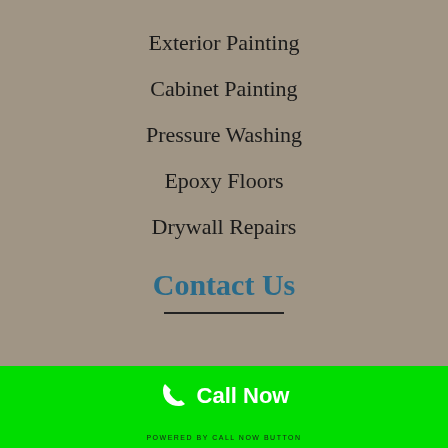Exterior Painting
Cabinet Painting
Pressure Washing
Epoxy Floors
Drywall Repairs
Contact Us
POWERED BY CALL NOW BUTTON